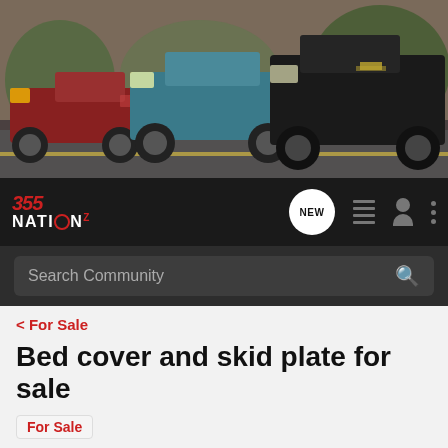[Figure (photo): Banner image showing three Chevrolet Colorado/S10 pickup trucks on a road — one red, one teal/blue, one black — in an outdoor setting with trees in background]
[Figure (screenshot): 355Nation website navigation bar with logo, NEW chat bubble, list icon, person icon, and three-dot menu icon]
[Figure (screenshot): Search Community search bar on dark background]
< For Sale
Bed cover and skid plate for sale
For Sale
→ Jump to Latest
+ Follow
1 - 16 of 16 Posts
Budwish · Registered